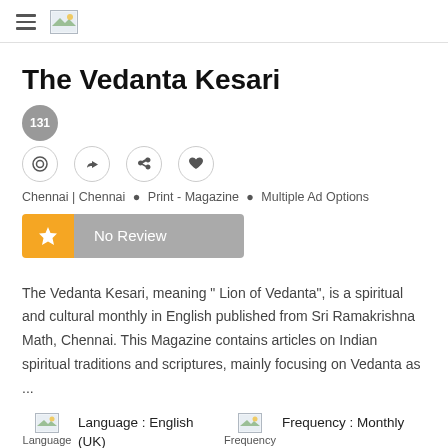≡ [image placeholder]
The Vedanta Kesari
131 [view icon] [like icon] [share icon] [heart icon]
Chennai | Chennai • Print - Magazine • Multiple Ad Options
★ No Review
The Vedanta Kesari, meaning " Lion of Vedanta", is a spiritual and cultural monthly in English published from Sri Ramakrishna Math, Chennai. This Magazine contains articles on Indian spiritual traditions and scriptures, mainly focusing on Vedanta as ...
Language : English (UK)
Frequency : Monthly